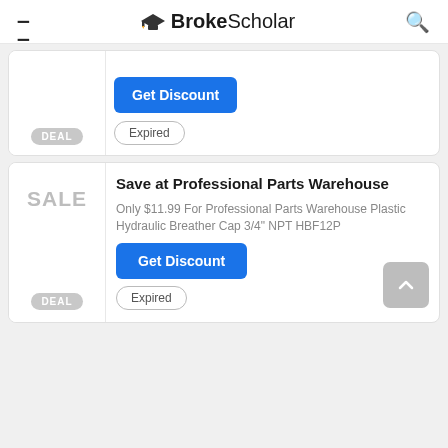BrokeScholar
[Figure (screenshot): Partial deal card with Get Discount button and Expired badge, DEAL label on left]
Save at Professional Parts Warehouse
Only $11.99 For Professional Parts Warehouse Plastic Hydraulic Breather Cap 3/4" NPT HBF12P
Get Discount
Expired